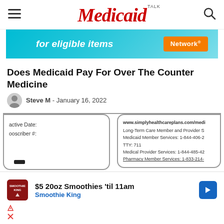MedicaidTALK
[Figure (screenshot): Advertisement banner with teal gradient background, text 'for eligible items' and orange 'Network' button]
Does Medicaid Pay For Over The Counter Medicine
Steve M  -  January 16, 2022
[Figure (screenshot): Medicaid insurance card showing fields: Active Date, Subscriber #, www.simplyhealthcareplans.com/medi, Long-Term Care Member and Provider S, Medicaid Member Services: 1-844-406-2, TTY: 711, Medical Provider Services: 1-844-485-42, Pharmacy Member Services: 1-833-214-]
[Figure (screenshot): Advertisement: $5 20oz Smoothies 'til 11am - Smoothie King with navigation arrow icon]